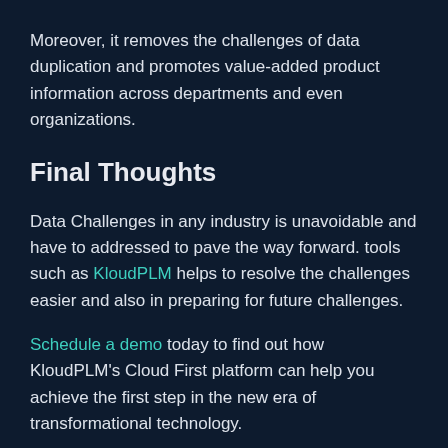Moreover, it removes the challenges of data duplication and promotes value-added product information across departments and even organizations.
Final Thoughts
Data Challenges in any industry is unavoidable and have to addressed to pave the way forward. tools such as KloudPLM helps to resolve the challenges easier and also in preparing for future challenges.
Schedule a demo today to find out how KloudPLM's Cloud First platform can help you achieve the first step in the new era of transformational technology.